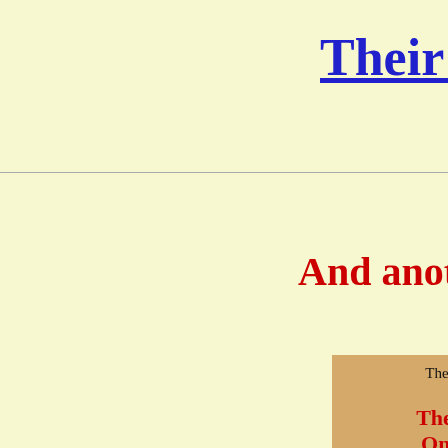Their Rec...
And another o...
[Figure (other): A tan/golden box with RSPCA recommendation text mentioning 'The Kiley-W... On Animals...' with 'Re...' below]
The...
The Anim...